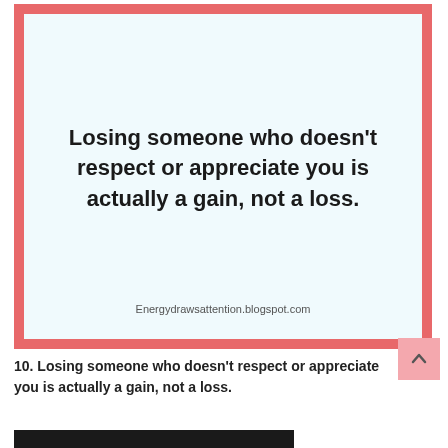[Figure (illustration): A motivational quote card with a salmon/coral border and light blue background. The quote reads: 'Losing someone who doesn't respect or appreciate you is actually a gain, not a loss.' with 'Energydrawsattention.blogspot.com' at the bottom.]
10. Losing someone who doesn't respect or appreciate you is actually a gain, not a loss.